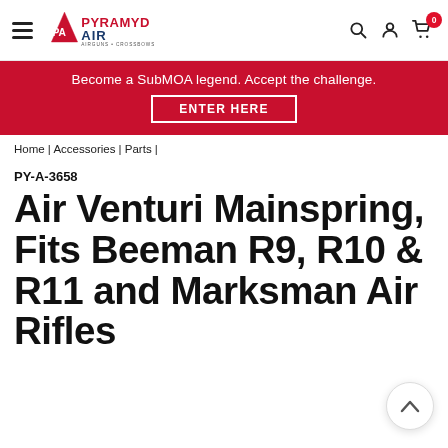Pyramyd Air – Airguns + Crossbows navigation header with hamburger menu, logo, search, account, and cart icons
[Figure (infographic): Red banner: 'Become a SubMOA legend. Accept the challenge.' with 'ENTER HERE' button]
Home | Accessories | Parts |
PY-A-3658
Air Venturi Mainspring, Fits Beeman R9, R10 & R11 and Marksman Air Rifles